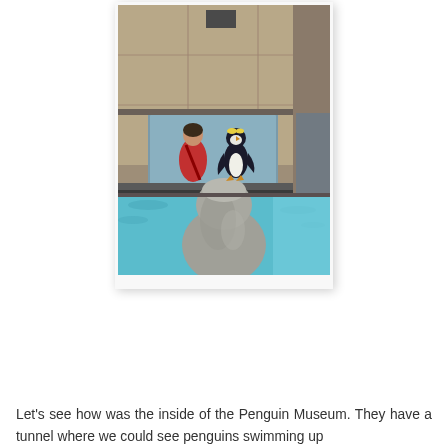[Figure (photo): A penguin standing on a large rock in a pool of blue-green water at a zoo or aquarium. Behind the penguin is a stone building wall with a window, and a person in a red top is visible through the window looking out. The photo is displayed as a polaroid-style print with white border and shadow.]
Let's see how was the inside of the Penguin Museum. They have a tunnel where we could see penguins swimming up